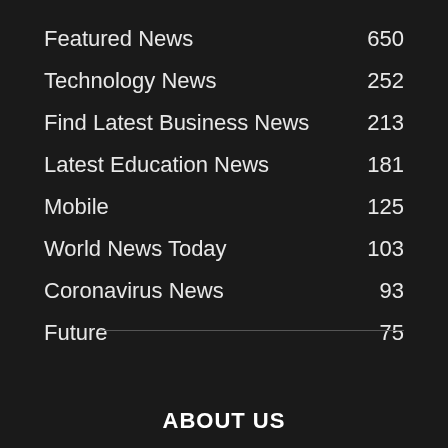Featured News    650
Technology News    252
Find Latest Business News    213
Latest Education News    181
Mobile    125
World News Today    103
Coronavirus News    93
Future    75
ABOUT US